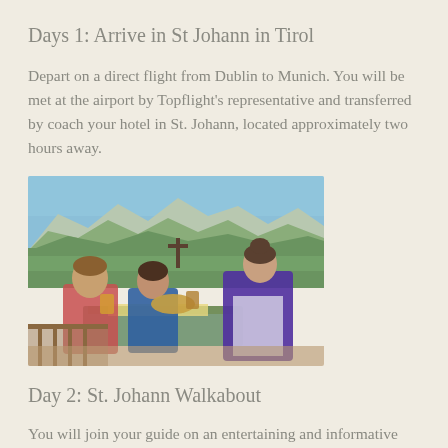Days 1: Arrive in St Johann in Tirol
Depart on a direct flight from Dublin to Munich. You will be met at the airport by Topflight’s representative and transferred by coach your hotel in St. Johann, located approximately two hours away.
[Figure (photo): Outdoor alpine restaurant scene with a waitress in traditional Austrian dirndl dress serving two people seated at a table, with mountains and green valley visible in the background]
Day 2: St. Johann Walkabout
You will join your guide on an entertaining and informative walk through St. Johann. Enjoy a stroll through the village and get a sense of what the area has